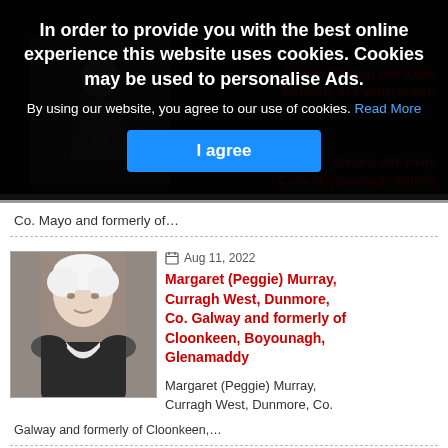In order to provide you with the best online experience this website uses cookies. Cookies may be used to personalise Ads.
By using our website, you agree to our use of cookies. Read More
I agree
Maeve Blenein nee Kelly, formerly of Palmerstown,
Blenein nee Kelly.
Carn, Moygownagh, Ballina,
Co. Mayo and formerly of…
Aug 11, 2022
Margaret (Peggie) Murray, Curragh West, Dunmore, Co. Galway and formerly of Cloonkeen, Boyounagh, Glenamaddy
[Figure (photo): Portrait photo of elderly woman with white hair wearing dark clothing with white collar]
Margaret (Peggie) Murray,
Curragh West, Dunmore, Co.
Galway and formerly of Cloonkeen,…